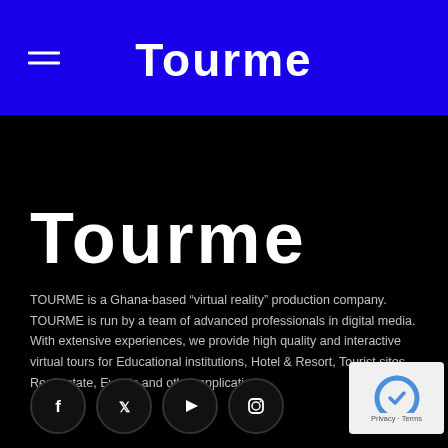Tourme
[Figure (logo): Tourme logo in large white stylized font on black background]
TOURME is a Ghana-based “virtual reality” production company. TOURME is run by a team of advanced professionals in digital media. With extensive experiences, we provide high quality and interactive virtual tours for Educational institutions, Hotel & Resort, Tourist sites, Real estate, Events and other applications.
[Figure (other): Social media icons row: Facebook, Twitter, YouTube, Instagram]